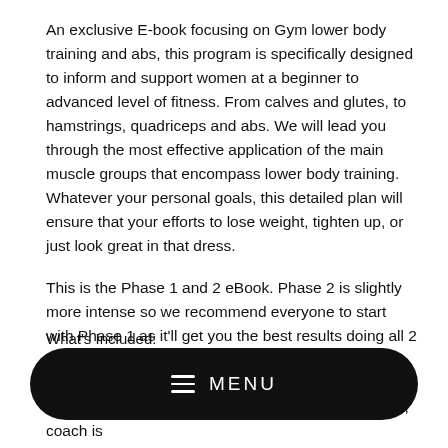An exclusive E-book focusing on Gym lower body training and abs, this program is specifically designed to inform and support women at a beginner to advanced level of fitness. From calves and glutes, to hamstrings, quadriceps and abs. We will lead you through the most effective application of the main muscle groups that encompass lower body training. Whatever your personal goals, this detailed plan will ensure that your efforts to lose weight, tighten up, or just look great in that dress.
This is the Phase 1 and 2 eBook. Phase 2 is slightly more intense so we recommend everyone to start with Phase 1 as it'll get you the best results doing all 2 Phases.
What's Included:
[Figure (other): Black rounded rectangle menu bar with hamburger icon and MENU text in white]
coach (this is optional and comes at no extra charge, coach is